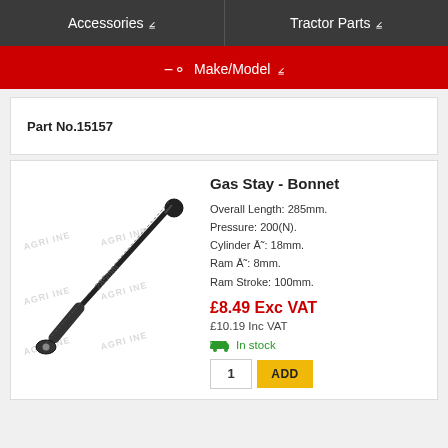Accessories ∨   Tractor Parts ∨
Make/Model ∨
Part No.15157
Gas Stay - Bonnet
Overall Length: 285mm. Pressure: 200(N). Cylinder Ā˜: 18mm. Ram Ā˜: 8mm. Ram Stroke: 100mm.
£8.49 Exc VAT
£10.19 Inc VAT
In stock
[Figure (photo): Gas stay / bonnet strut, approximately 285mm long, black metal rod with end fittings, shown diagonally with watermark 'AGRI INE' repeated across image]
1
ADD